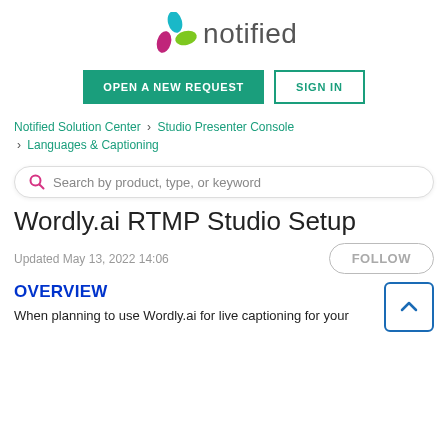[Figure (logo): Notified logo with colorful leaf/petal icon and 'notified' text in gray]
OPEN A NEW REQUEST
SIGN IN
Notified Solution Center › Studio Presenter Console › Languages & Captioning
Search by product, type, or keyword
Wordly.ai RTMP Studio Setup
Updated May 13, 2022 14:06
FOLLOW
OVERVIEW
When planning to use Wordly.ai for live captioning for your